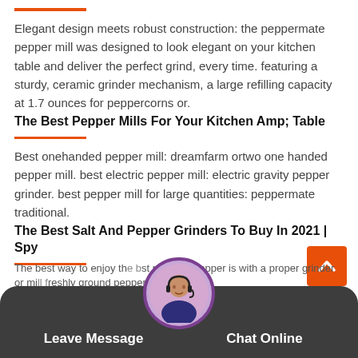Elegant design meets robust construction: the peppermate pepper mill was designed to look elegant on your kitchen table and deliver the perfect grind, every time. featuring a sturdy, ceramic grinder mechanism, a large refilling capacity at 1.7 ounces for peppercorns or.
The Best Pepper Mills For Your Kitchen Amp; Table
Best onehanded pepper mill: dreamfarm ortwo one handed pepper mill. best electric pepper mill: electric gravity pepper grinder. best pepper mill for large quantities: peppermate traditional.
The Best Salt And Pepper Grinders To Buy In 2021 | Spy
The best way to enjoy the best possible pepper is with a proper grinder or mill freshly ground pepper will
Leave Message   Chat Online